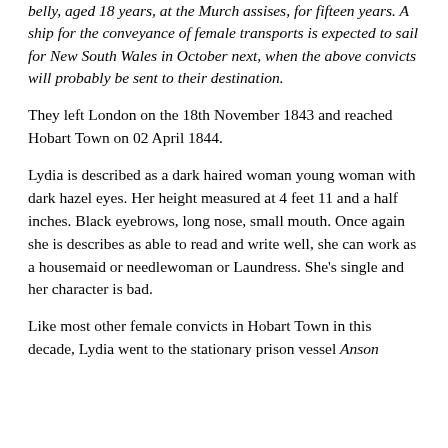belly, aged 18 years, at the Murch assises, for fifteen years. A ship for the conveyance of female transports is expected to sail for New South Wales in October next, when the above convicts will probably be sent to their destination.
They left London on the 18th November 1843 and reached Hobart Town on 02 April 1844.
Lydia is described as a dark haired woman young woman with dark hazel eyes. Her height measured at 4 feet 11 and a half inches. Black eyebrows, long nose, small mouth. Once again she is describes as able to read and write well, she can work as a housemaid or needlewoman or Laundress. She's single and her character is bad.
Like most other female convicts in Hobart Town in this decade, Lydia went to the stationary prison vessel Anson and was based there for several years and it is here that